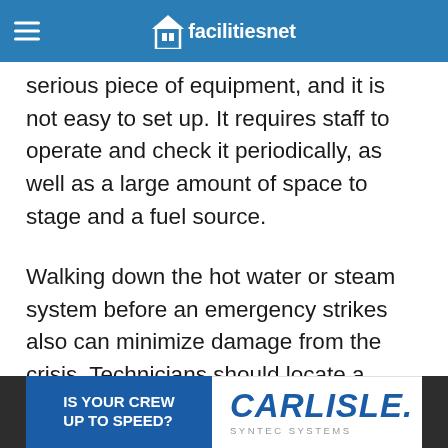facilitiesnet
overcome. A trailer-mounted hot-water system is a serious piece of equipment, and it is not easy to set up. It requires staff to operate and check it periodically, as well as a large amount of space to stage and a fuel source.
Walking down the hot water or steam system before an emergency strikes also can minimize damage from the crisis. Technicians should locate a place to tie in an emergency hot-water or steam boiler. This step might be as easy as locating a set of taps on the primary header that were provided for future
[Figure (infographic): Advertisement banner: IS YOUR CREW UP TO SPEED? Carlisle Syntec Systems logo on blue and white background with dark side panels.]